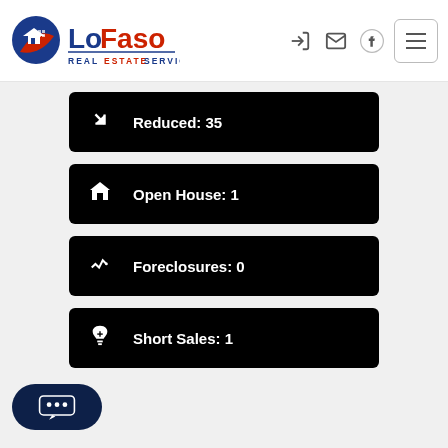[Figure (logo): LoFaso Real Estate Services logo with house icon, blue and red design]
Reduced: 35
Open House: 1
Foreclosures: 0
Short Sales: 1